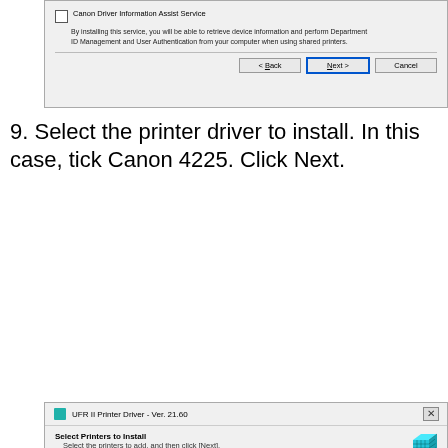[Figure (screenshot): Windows installer dialog showing Canon Driver Information Assist Service checkbox with description text, and Back/Next/Cancel buttons]
9. Select the printer driver to install. In this case, tick Canon 4225. Click Next.
[Figure (screenshot): UFR II Printer Driver - Ver. 21.60 dialog showing Printer List with multiple Canon iR models listed and Canon iR-ADV 4225/4235 UFR II checked at the bottom]